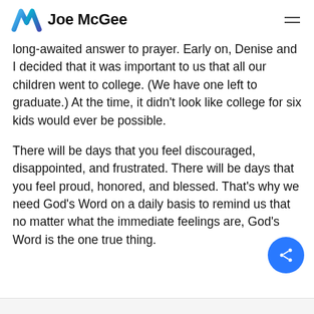Joe McGee
long-awaited answer to prayer. Early on, Denise and I decided that it was important to us that all our children went to college. (We have one left to graduate.) At the time, it didn't look like college for six kids would ever be possible.
There will be days that you feel discouraged, disappointed, and frustrated. There will be days that you feel proud, honored, and blessed. That's why we need God's Word on a daily basis to remind us that no matter what the immediate feelings are, God's Word is the one true thing.